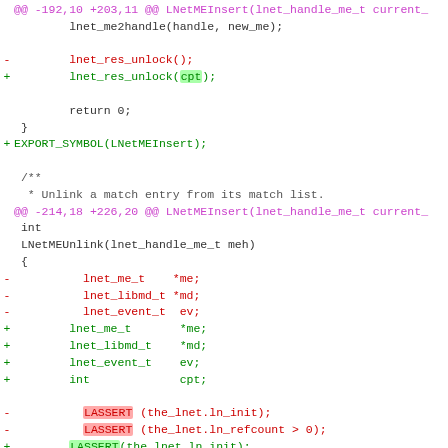[Figure (screenshot): A unified diff / code patch screenshot showing changes to a C source file. Lines include hunk headers in purple, removed lines in red, added lines in green, and context lines in dark gray. Highlighted spans mark changed tokens.]